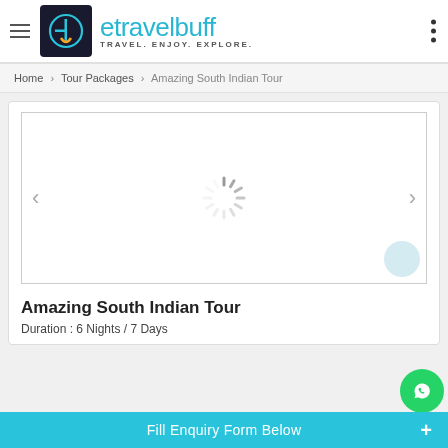[Figure (logo): etravelbuff logo with dark navy square containing stylized 'eb' letters in cyan/yellow, and the text 'etravelbuff TRAVEL. ENJOY. EXPLORE.' in cyan]
Home › Tour Packages › Amazing South Indian Tour
[Figure (screenshot): Image slider with loading spinner, left and right navigation arrows, and a floating circle button]
Amazing South Indian Tour
Duration : 6 Nights / 7 Days
Fill Enquiry Form Below +